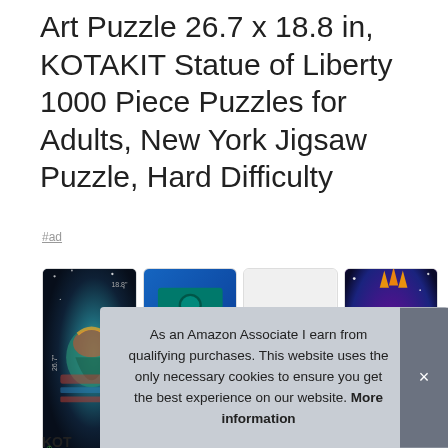Art Puzzle 26.7 x 18.8 in, KOTAKIT Statue of Liberty 1000 Piece Puzzles for Adults, New York Jigsaw Puzzle, Hard Difficulty
#ad
[Figure (photo): Four product images of the KOTAKIT Statue of Liberty 1000 piece puzzle: (1) completed puzzle showing colorful artistic Statue of Liberty face against dark starry background with dimensions marked, (2) puzzle box with blue packaging and teal lid, (3) partially assembled puzzle showing colorful pieces on white background, (4) close-up of colorful artistic Statue of Liberty face artwork]
KOTAKIT
in ne
As an Amazon Associate I earn from qualifying purchases. This website uses the only necessary cookies to ensure you get the best experience on our website. More information